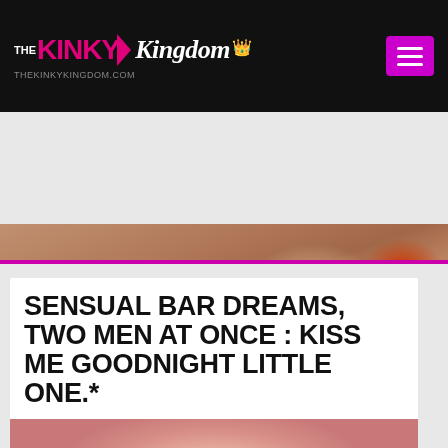THE KINKY Kingdom THEKINKYKINGDOM.COM
[Figure (photo): Close-up photo of a person in red lingerie being embraced, cropped torso view]
SENSUAL BAR DREAMS, TWO MEN AT ONCE : KISS ME GOODNIGHT LITTLE ONE.*
[Figure (photo): Extreme close-up macro photo of human lips]